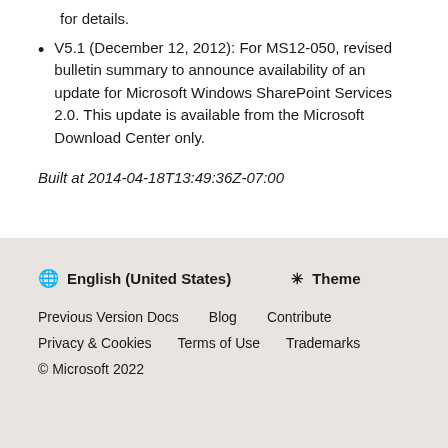for details.
V5.1 (December 12, 2012): For MS12-050, revised bulletin summary to announce availability of an update for Microsoft Windows SharePoint Services 2.0. This update is available from the Microsoft Download Center only.
Built at 2014-04-18T13:49:36Z-07:00
English (United States)  Theme  Previous Version Docs  Blog  Contribute  Privacy & Cookies  Terms of Use  Trademarks  © Microsoft 2022